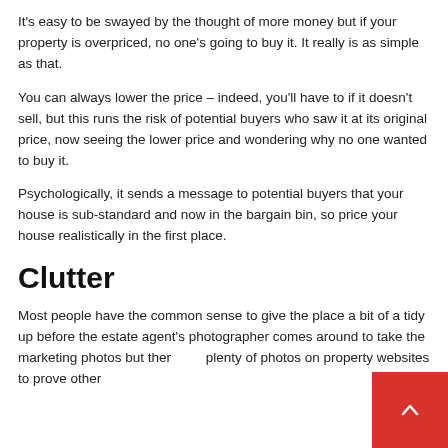It's easy to be swayed by the thought of more money but if your property is overpriced, no one's going to buy it. It really is as simple as that.
You can always lower the price – indeed, you'll have to if it doesn't sell, but this runs the risk of potential buyers who saw it at its original price, now seeing the lower price and wondering why no one wanted to buy it.
Psychologically, it sends a message to potential buyers that your house is sub-standard and now in the bargain bin, so price your house realistically in the first place.
Clutter
Most people have the common sense to give the place a bit of a tidy up before the estate agent's photographer comes around to take the marketing photos but there are plenty of photos on property websites to prove other...